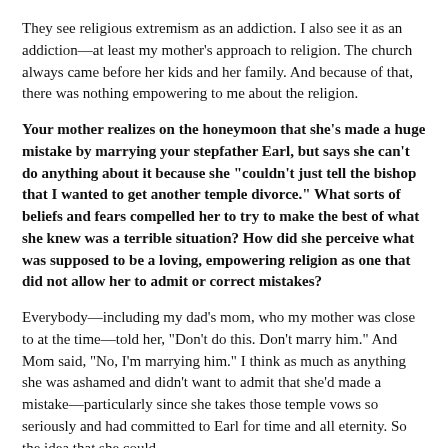They see religious extremism as an addiction. I also see it as an addiction—at least my mother's approach to religion. The church always came before her kids and her family. And because of that, there was nothing empowering to me about the religion.
Your mother realizes on the honeymoon that she's made a huge mistake by marrying your stepfather Earl, but says she can't do anything about it because she "couldn't just tell the bishop that I wanted to get another temple divorce." What sorts of beliefs and fears compelled her to try to make the best of what she knew was a terrible situation? How did she perceive what was supposed to be a loving, empowering religion as one that did not allow her to admit or correct mistakes?
Everybody—including my dad's mom, who my mother was close to at the time—told her, "Don't do this. Don't marry him." And Mom said, "No, I'm marrying him." I think as much as anything she was ashamed and didn't want to admit that she'd made a mistake—particularly since she takes those temple vows so seriously and had committed to Earl for time and all eternity. So the idea that she could